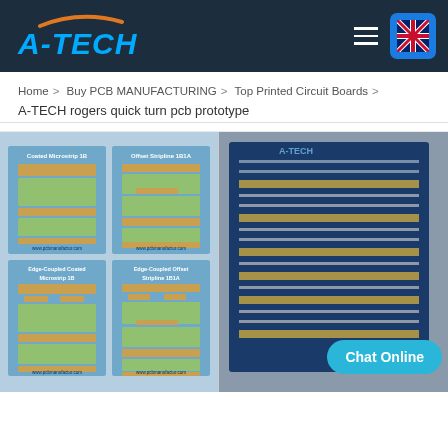A-TECH (logo) navigation bar with hamburger menu and UK flag
Home > Buy PCB MANUFACTURING > Top Printed Circuit Boards > A-TECH rogers quick turn pcb prototype
[Figure (engineering-diagram): PCB cross-section diagrams showing four types: Coated Microstrip 1B, Offset Stripline 1B1A, Edge-Coupled Coated Microstrip 1B, Edge-Coupled Offset Stripline 1B1A with blue background]
[Figure (photo): Photo of blue PCB board wrapped in bubble wrap showing A-TECH branding and connector pins]